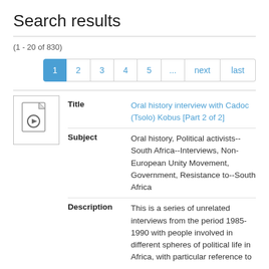Search results
(1 - 20 of 830)
1 2 3 4 5 ... next last
| Field | Value |
| --- | --- |
| Title | Oral history interview with Cadoc (Tsolo) Kobus [Part 2 of 2] |
| Subject | Oral history, Political activists--South Africa--Interviews, Non-European Unity Movement, Government, Resistance to--South Africa |
| Description | This is a series of unrelated interviews from the period 1985-1990 with people involved in different spheres of political life in Africa, with particular reference to |